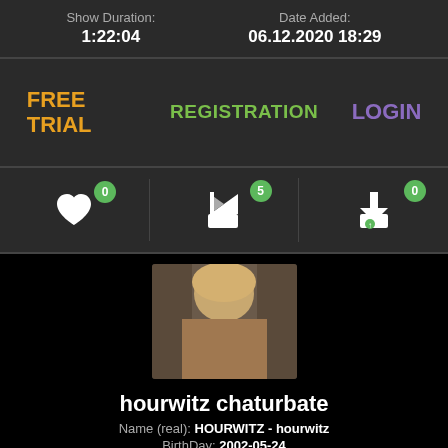Show Duration: 1:22:04 | Date Added: 06.12.2020 18:29
FREE TRIAL | REGISTRATION | LOGIN
Heart icon: 0 | Share icon: 5 | Download icon: 0
[Figure (photo): Thumbnail profile photo of a blonde person]
hourwitz chaturbate
Name (real): HOURWITZ - hourwitz
BirthDay: 2002-05-24
Live in: Russia